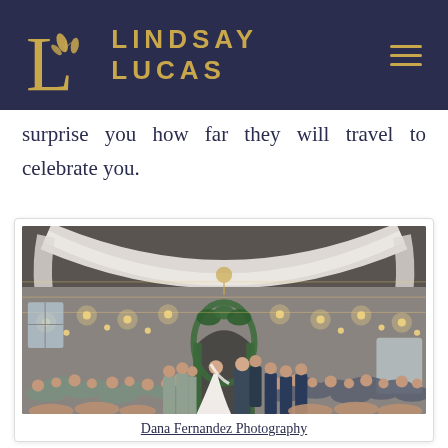LINDSAY LUCAS
surprise you how far they will travel to celebrate you.
[Figure (photo): Indoor wedding ceremony in a rustic stone barn venue with draped white fabric on ceiling, string lights, floral arch, bride and groom at altar, guests seated and standing on both sides]
Dana Fernandez Photography